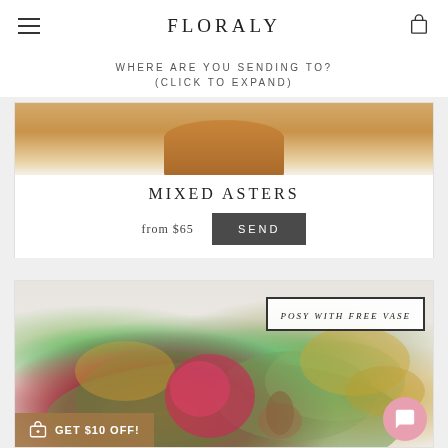FLORALY
WHERE ARE YOU SENDING TO? (CLICK TO EXPAND)
[Figure (photo): Product card with wicker basket arrangement at top, showing Mixed Asters with price 'from $65' and a SEND button]
MIXED ASTERS
from $65
SEND
[Figure (photo): Floral arrangement photo showing a colorful posy with pink protea, native Australian flowers, green foliage and golden wattle. Badge reads 'POSY WITH FREE VASE']
POSY WITH FREE VASE
GET $10 OFF!